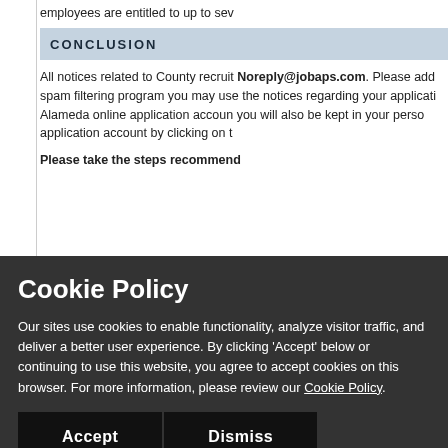employees are entitled to up to sev
CONCLUSION
All notices related to County recruit Noreply@jobaps.com. Please add spam filtering program you may use the notices regarding your applicati Alameda online application accoun you will also be kept in your perso application account by clicking on t
Please take the steps recommend
Cookie Policy
Our sites use cookies to enable functionality, analyze visitor traffic, and deliver a better user experience. By clicking 'Accept' below or continuing to use this website, you agree to accept cookies on this browser. For more information, please review our Cookie Policy.